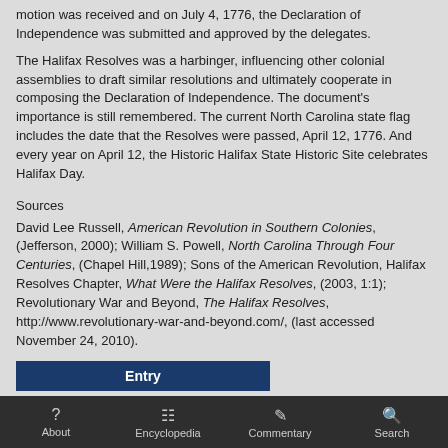motion was received and on July 4, 1776, the Declaration of Independence was submitted and approved by the delegates.
The Halifax Resolves was a harbinger, influencing other colonial assemblies to draft similar resolutions and ultimately cooperate in composing the Declaration of Independence. The document's importance is still remembered. The current North Carolina state flag includes the date that the Resolves were passed, April 12, 1776. And every year on April 12, the Historic Halifax State Historic Site celebrates Halifax Day.
Sources
David Lee Russell, American Revolution in Southern Colonies, (Jefferson, 2000); William S. Powell, North Carolina Through Four Centuries, (Chapel Hill,1989); Sons of the American Revolution, Halifax Resolves Chapter, What Were the Halifax Resolves, (2003, 1:1); Revolutionary War and Beyond, The Halifax Resolves, http://www.revolutionary-war-and-beyond.com/, (last accessed November 24, 2010).
Entry
Email *
About  Encyclopedia  Commentary  Search